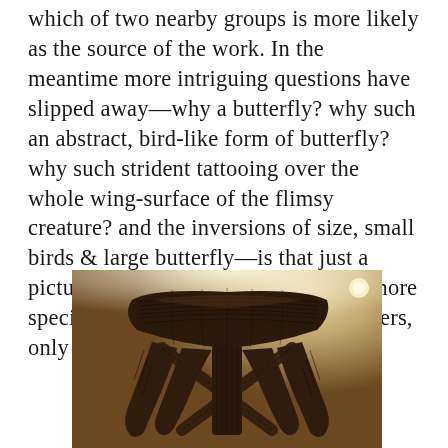which of two nearby groups is more likely as the source of the work. In the meantime more intriguing questions have slipped away—why a butterfly? why such an abstract, bird-like form of butterfly? why such strident tattooing over the whole wing-surface of the flimsy creature? and the inversions of size, small birds & large butterfly—is that just a picture of thought roaming free, or a more specific puzzle to be solved? No answers, only questions.
[Figure (photo): Museum photograph of a dark carved wooden artifact with intricate incised geometric patterns, viewed from above/front against a beige museum display background with ceiling lights visible.]